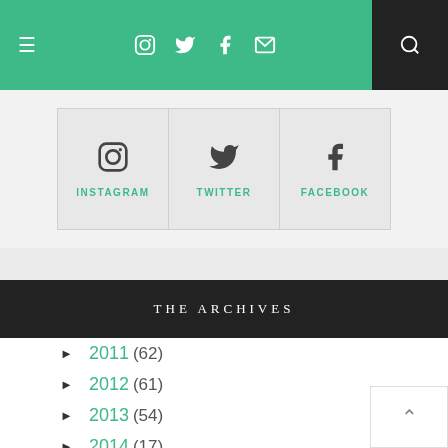Navigation bar with hamburger menu, social icons (Instagram, Twitter, Facebook, Email), and search button
[Figure (infographic): Social media link boxes: Instagram, Twitter, Facebook with icons and labels in teal]
THE ARCHIVES
► 2011 (62)
► 2012 (61)
► 2013 (54)
► 2014 (17)
► 2015 (16)
► 2016 (21)
► 2017 (58)